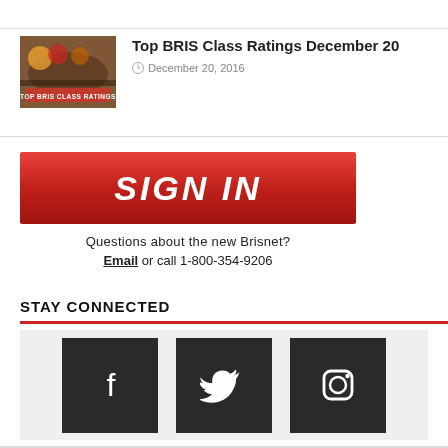[Figure (photo): Thumbnail image for Top BRIS Class Ratings article showing horse racing with text overlay 'TOP BRIS CLASS RATINGS']
Top BRIS Class Ratings December 20
December 20, 2016
[Figure (other): Red SIGN IN button with bold white italic text]
Questions about the new Brisnet?
Email or call 1-800-354-9206
STAY CONNECTED
[Figure (other): Three social media icon buttons (Facebook, Twitter, Instagram) on a light gray background]